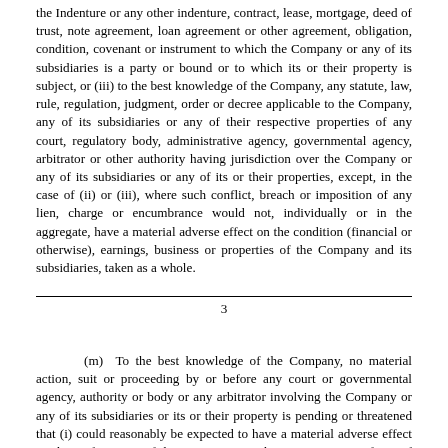the Indenture or any other indenture, contract, lease, mortgage, deed of trust, note agreement, loan agreement or other agreement, obligation, condition, covenant or instrument to which the Company or any of its subsidiaries is a party or bound or to which its or their property is subject, or (iii) to the best knowledge of the Company, any statute, law, rule, regulation, judgment, order or decree applicable to the Company, any of its subsidiaries or any of their respective properties of any court, regulatory body, administrative agency, governmental agency, arbitrator or other authority having jurisdiction over the Company or any of its subsidiaries or any of its or their properties, except, in the case of (ii) or (iii), where such conflict, breach or imposition of any lien, charge or encumbrance would not, individually or in the aggregate, have a material adverse effect on the condition (financial or otherwise), earnings, business or properties of the Company and its subsidiaries, taken as a whole.
3
(m)  To the best knowledge of the Company, no material action, suit or proceeding by or before any court or governmental agency, authority or body or any arbitrator involving the Company or any of its subsidiaries or its or their property is pending or threatened that (i) could reasonably be expected to have a material adverse effect on the performance of this Agreement or the consummation of any of the transactions contemplated hereby, or (ii) could reasonably be expected to